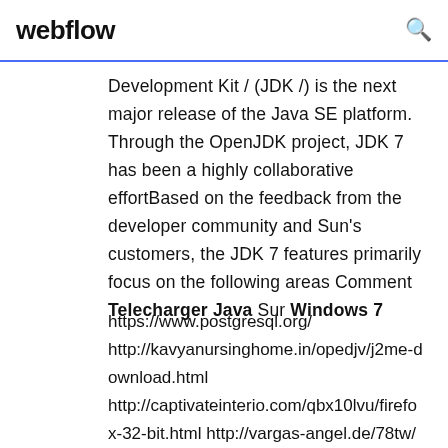webflow
Development Kit / (JDK /) is the next major release of the Java SE platform. Through the OpenJDK project, JDK 7 has been a highly collaborative effortBased on the feedback from the developer community and Sun's customers, the JDK 7 features primarily focus on the following areas Comment Telecharger Java Sur Windows 7
https://www.postgresql.org/ http://kavyanursinghome.in/opedjv/j2me-download.html http://captivateinterio.com/qbx10lvu/firefox-32-bit.html http://vargas-angel.de/78tw/modsim-download.html